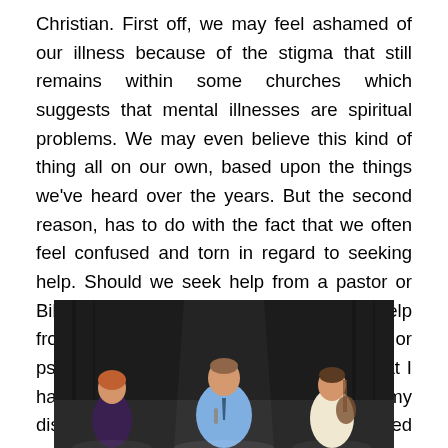Christian. First off, we may feel ashamed of our illness because of the stigma that still remains within some churches which suggests that mental illnesses are spiritual problems. We may even believe this kind of thing all on our own, based upon the things we've heard over the years. But the second reason, has to do with the fact that we often feel confused and torn in regard to seeking help. Should we seek help from a pastor or Biblical counselor or, should we seek help from a doctor; such as a psychologist or psychiatrist? The good news for me, is that I have been able to obtain help for my disorders. The bad news is that I avoided getting help for many, many years.
[Figure (photo): Three people on a dark stage: a woman on the left, a man in the center holding a microphone wearing a light blue shirt, and another person on the right. Dark curtain backdrop.]